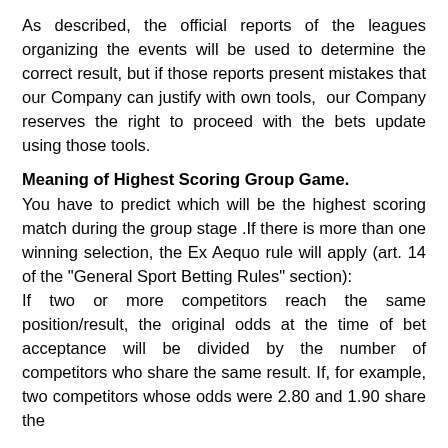As described, the official reports of the leagues organizing the events will be used to determine the correct result, but if those reports present mistakes that our Company can justify with own tools,  our Company reserves the right to proceed with the bets update using those tools.
Meaning of Highest Scoring Group Game.
You have to predict which will be the highest scoring match during the group stage .If there is more than one winning selection, the Ex Aequo rule will apply (art. 14 of the "General Sport Betting Rules" section): If two or more competitors reach the same position/result, the original odds at the time of bet acceptance will be divided by the number of competitors who share the same result. If, for example, two competitors whose odds were 2.80 and 1.90 share the